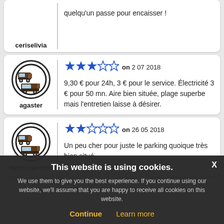ceriselivia — quelqu'un passe pour encaisser !
agaster — on 2 07 2018 — 3 stars — 9,30 € pour 24h, 3 € pour le service. Électricité 3 € pour 50 mn. Aire bien située, plage superbe mais l'entretien laisse à désirer.
mrbonneroute — on 26 05 2018 — 2 stars — Un peu cher pour juste le parking quoique très bien situé,
Cookie banner: This website is using cookies. We use them to give you the best experience. If you continue using our website, we'll assume that you are happy to receive all cookies on this website. Continue | Learn more